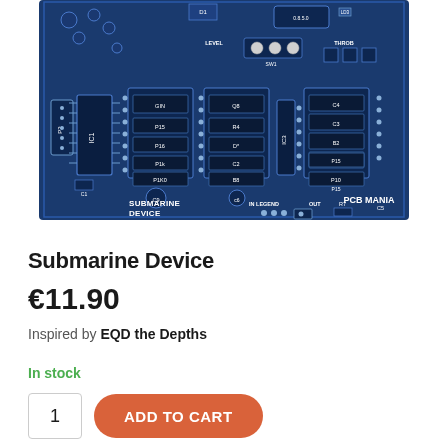[Figure (photo): Blue PCB board labeled 'Submarine Device' and 'PCB Mania', showing various electronic components, ICs, resistors, capacitors, LEDs, and connectors on a dark blue circuit board.]
Submarine Device
€11.90
Inspired by EQD the Depths
In stock
1
ADD TO CART